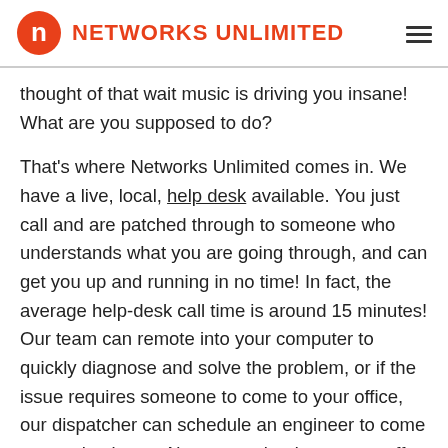NETWORKS UNLIMITED
thought of that wait music is driving you insane! What are you supposed to do?
That's where Networks Unlimited comes in. We have a live, local, help desk available. You just call and are patched through to someone who understands what you are going through, and can get you up and running in no time! In fact, the average help-desk call time is around 15 minutes! Our team can remote into your computer to quickly diagnose and solve the problem, or if the issue requires someone to come to your office, our dispatcher can schedule an engineer to come to your business. Also, our trained support staff routinely gain certifications and currently hold them for Microsoft, HP, various printer companies, and many